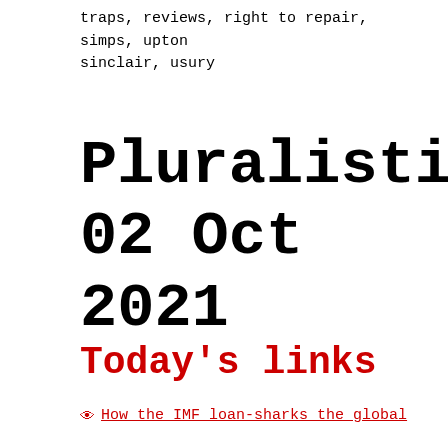traps, reviews, right to repair, simps, upton sinclair, usury
Pluralistic: 02 Oct 2021
Today's links
How the IMF loan-sharks the global